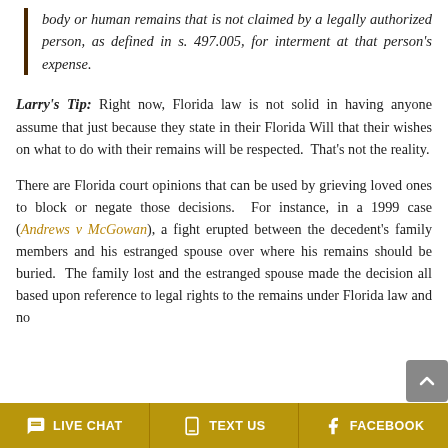body or human remains that is not claimed by a legally authorized person, as defined in s. 497.005, for interment at that person's expense.
Larry's Tip: Right now, Florida law is not solid in having anyone assume that just because they state in their Florida Will that their wishes on what to do with their remains will be respected. That's not the reality.
There are Florida court opinions that can be used by grieving loved ones to block or negate those decisions. For instance, in a 1999 case (Andrews v McGowan), a fight erupted between the decedent's family members and his estranged spouse over where his remains should be buried. The family lost and the estranged spouse made the decision all based upon reference to legal rights to the remains under Florida law and no
💬 LIVE CHAT   📱 TEXT US   f FACEBOOK